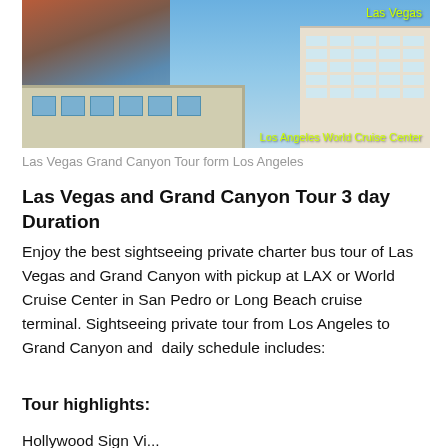[Figure (photo): Collage photo showing a tour bus at bottom-left, a cruise ship and Los Angeles World Cruise Center, and Las Vegas hotel with palm trees. Labels read 'Las Vegas' top-right and 'Los Angeles World Cruise Center' bottom-right in yellow-green text.]
Las Vegas Grand Canyon Tour form Los Angeles
Las Vegas and Grand Canyon Tour 3 day Duration
Enjoy the best sightseeing private charter bus tour of Las Vegas and Grand Canyon with pickup at LAX or World Cruise Center in San Pedro or Long Beach cruise terminal. Sightseeing private tour from Los Angeles to Grand Canyon and  daily schedule includes:
Tour highlights:
Hollywood Sign Vi...